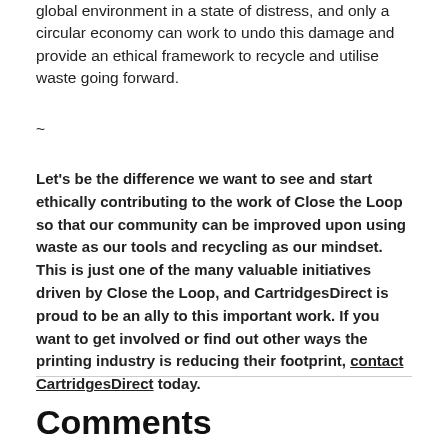global environment in a state of distress, and only a circular economy can work to undo this damage and provide an ethical framework to recycle and utilise waste going forward.
~
Let's be the difference we want to see and start ethically contributing to the work of Close the Loop so that our community can be improved upon using waste as our tools and recycling as our mindset. This is just one of the many valuable initiatives driven by Close the Loop, and CartridgesDirect is proud to be an ally to this important work. If you want to get involved or find out other ways the printing industry is reducing their footprint, contact CartridgesDirect today.
Comments